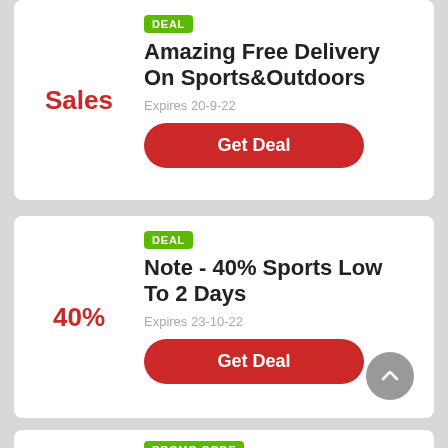Sales
[Figure (other): Green DEAL badge]
Amazing Free Delivery On Sports&Outdoors
Expires 20-9-22
Get Deal
40%
[Figure (other): Green DEAL badge]
Note - 40% Sports Low To 2 Days
Expires 23-10-22
Get Deal
[Figure (other): Green PROMO CODE badge]
Sign Up At Note And